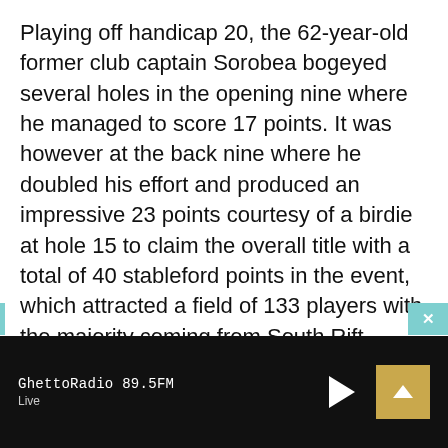Playing off handicap 20, the 62-year-old former club captain Sorobea bogeyed several holes in the opening nine where he managed to score 17 points. It was however at the back nine where he doubled his effort and produced an impressive 23 points courtesy of a birdie at hole 15 to claim the overall title with a total of 40 stableford points in the event, which attracted a field of 133 players with the majority coming from South Rift, North Rift, Nyanza, and Western Clubs.
“I want to thank Safaricom for according to us
GhettoRadio 89.5FM
Live